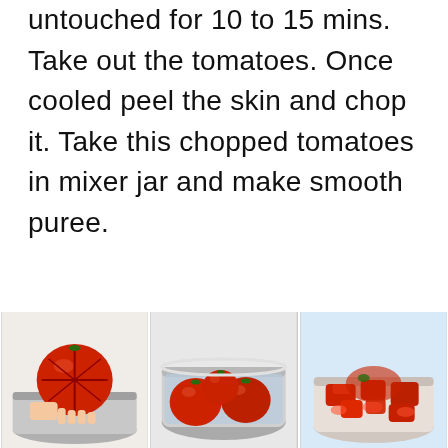untouched for 10 to 15 mins. Take out the tomatoes. Once cooled peel the skin and chop it. Take this chopped tomatoes in mixer jar and make smooth puree.
[Figure (photo): Three photos showing tomato preparation steps: left photo shows a hand holding a scored raw tomato over a metal bowl; center photo shows whole tomatoes submerged in water in a metal bowl; right photo shows peeled and chopped tomatoes in a bowl.]